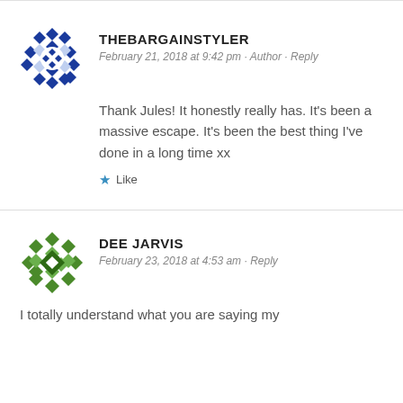[Figure (illustration): Blue geometric diamond pattern avatar for thebargainstyler]
THEBARGAINSTYLER
February 21, 2018 at 9:42 pm · Author · Reply
Thank Jules! It honestly really has. It's been a massive escape. It's been the best thing I've done in a long time xx
Like
[Figure (illustration): Green geometric diamond pattern avatar for Dee Jarvis]
DEE JARVIS
February 23, 2018 at 4:53 am · Reply
I totally understand what you are saying my